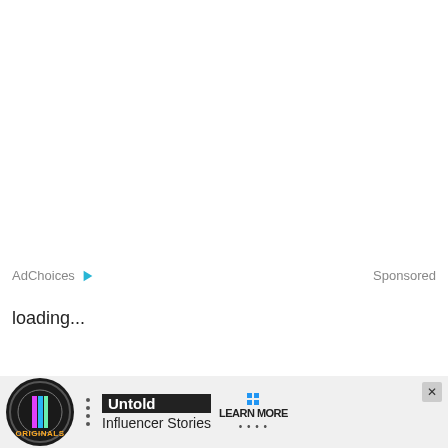AdChoices  Sponsored
loading...
[Figure (screenshot): Advertisement banner at the bottom of the page showing Originals logo on the left, bullet points, 'Untold Influencer Stories' text, and a 'LEARN MORE' button with grid icon. A close (X) button is in the top-right corner.]